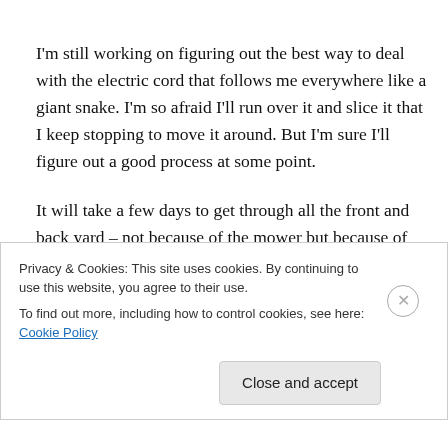I'm still working on figuring out the best way to deal with the electric cord that follows me everywhere like a giant snake. I'm so afraid I'll run over it and slice it that I keep stopping to move it around. But I'm sure I'll figure out a good process at some point.
It will take a few days to get through all the front and back yard – not because of the mower but because of the heat and my limitations. But since I have to do this myself, I'll...
Privacy & Cookies: This site uses cookies. By continuing to use this website, you agree to their use.
To find out more, including how to control cookies, see here: Cookie Policy